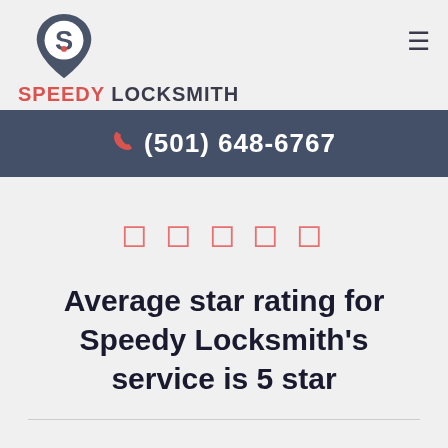[Figure (logo): Speedy Locksmith logo with S-shaped padlock icon in dark blue-grey and red, above the text SPEEDY LOCKSMITH in red and dark colors]
(501) 648-6767
★★★★★
Average star rating for Speedy Locksmith's service is 5 star